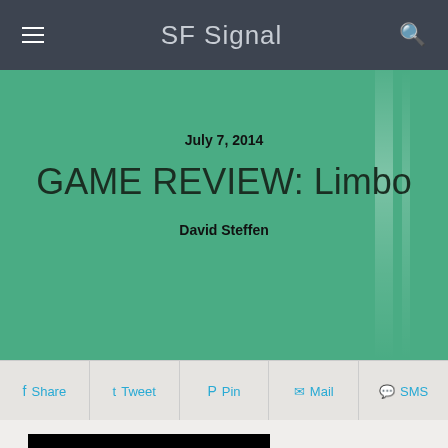SF Signal
GAME REVIEW: Limbo
July 7, 2014
David Steffen
Share  Tweet  Pin  Mail  SMS
[Figure (photo): Black and white LIMBO game cover art showing the word LIMBO in bold white letters against a black background, with a dark misty figure below]